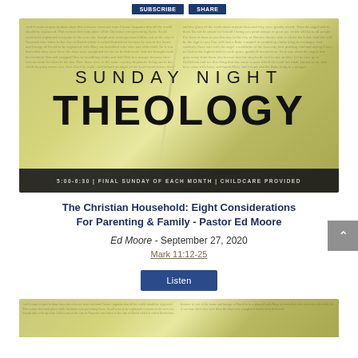SUBSCRIBE | SHARE
[Figure (illustration): Sunday Night Theology banner image with open Bible background in olive/yellow tones, large text reading 'SUNDAY NIGHT THEOLOGY', and footer bar reading '5:00-6:30 | FINAL SUNDAY OF EACH MONTH | CHILDCARE PROVIDED']
The Christian Household: Eight Considerations For Parenting & Family - Pastor Ed Moore
Ed Moore - September 27, 2020
Mark 11:12-25
Listen
[Figure (illustration): Partial Sunday Night Theology banner image at bottom, same olive Bible background, cropped]